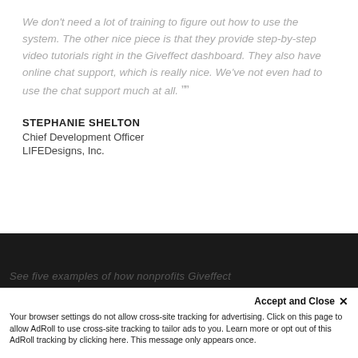We don't need a lot of training to figure out how to use the system. The other nice piece is that they provide step-by-step video tutorials right in the Giveffect dashboard. They also have online chat support, which is really nice. We've not even had to use the chat support much at all. ””
STEPHANIE SHELTON
Chief Development Officer
LIFEDesigns, Inc.
Accept and Close ×
Your browser settings do not allow cross-site tracking for advertising. Click on this page to allow AdRoll to use cross-site tracking to tailor ads to you. Learn more or opt out of this AdRoll tracking by clicking here. This message only appears once.
See five examples of how nonprofits Giveffect